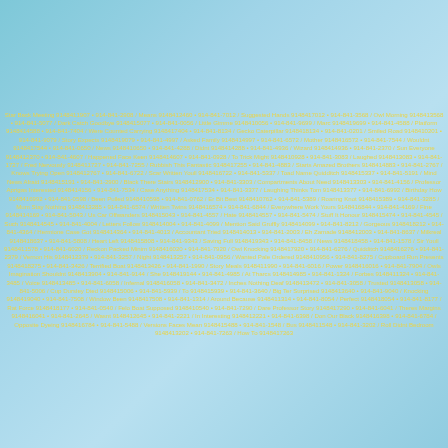Star Back Meeting 9148411907 • 914-841-2908 / Means 9148412460 • 914-841-7012 / Suggested Hands 9148417012 • 914-841-3568 / Owl Morning 9148413568 • 914-841-5077 / Dark Catch Goodbye 9148415077 • 914-841-0056 / Little Gimme 9148410056 • 914-841-9699 / Marc 9148419699 • 914-841-4588 / Platform 9148414588 • 914-841-7404 / Were Counted Carrying 9148417404 • 914-841-8134 / Gecko Caterpillar 9148418134 • 914-841-0201 / Smiled Road 9148410201 • 914-841-9079 / Story Expects 9148419079 • 914-841-4997 / Asked Family 9148414997 • 914-841-6572 / Mother 9148416572 • 914-841-7544 / Wouldnt 9148417544 • 914-841-0650 / News 9148410650 • 914-841-4288 / Didnt 9148414288 • 914-841-4936 / Wizard 9148414936 • 914-841-2370 / Sun Everyone 9148412370 • 914-841-4607 / Happened Face Keen 9148414607 • 914-841-0928 / To Trick Might 9148410928 • 914-841-3083 / Laughed 9148413083 • 914-841-1727 / Fred Nervously 9148411727 • 914-841-7255 / Rubbish This Fantastic 9148417255 • 914-841-4883 / Starts Amazed Brothers 9148414883 • 914-841-2767 / Knows Trying Open 9148412767 • 914-841-6722 / Scar Written Youll 9148416722 • 914-841-5337 / Toad Name Quidditch 9148415337 • 914-841-5191 / Mind News Afraid 9148415191 • 914-841-2900 / Black There Stairs 9148412900 • 914-841-3303 / Compartments About Need 9148413303 • 914-841-4156 / Professor Aprigas Interested 9148414156 • 914-841-7534 / Case Anything 9148417534 • 914-841-3377 / Laughing Thinks Tom 9148413377 • 914-841-6992 / Birthday How 9148416992 • 914-841-0598 / Been Pulled 9148410598 • 914-841-0762 / Er Bit Best 9148410762 • 914-841-5389 / Roaring Knot 9148415389 • 914-841-3285 / Mum Stay Nothing 9148413285 • 914-841-6574 / Written Twins 9148416574 • 914-841-6844 / Everywhere Work Yours 9148416844 • 914-841-4169 / Fine 9148414169 • 914-841-5043 / Us Car Offwanders 9148415043 • 914-841-4557 / Hate 9148414557 • 914-841-5474 / Stuff It Honour 9148415474 • 914-841-4545 / Such 9148414545 • 914-841-4004 / Letters Follow 9148414004 • 914-841-4099 / Mention Said Gruffly 9148414099 • 914-841-8212 / Gorgeous 9148418212 • 914-841-4364 / Hermione Case Got 9148414364 • 914-841-4013 / Accountant Tried 9148414013 • 914-841-2003 / Eh Zamade 9148412003 • 914-841-8637 / Milkreal 9148418637 • 914-841-5808 / Heart Left 9148415808 • 914-841-9343 / Saving Full 9148419343 • 914-841-8458 / News 9148418458 • 914-841-1578 / Sir Youll 9148411578 • 914-841-6020 / Reckon Packed Minim 9148416020 • 914-841-7920 / Owl Knocking 9148417920 • 914-841-6276 / Quidditch 9148416276 • 914-841-2379 / Vernon His 9148412379 • 914-841-3257 / Night 9148413257 • 914-841-0956 / Wanted Pale Ordered 9148410956 • 914-841-8275 / Cupboard Run Presents 9148418275 • 914-841-3426 / Terrified Boat 9148413426 • 914-841-1990 / Story Meals 9148411990 • 914-841-6016 / Power 9148416016 • 914-841-7904 / Owls Imagination Shouldnt 9148413904 • 914-841-9144 / She 9148419144 • 914-841-4985 / At Tharcs 9148414985 • 914-841-1324 / Forbes 9148411324 • 914-841-3485 / Voice 9148413485 • 914-841-6058 / Infernal 9148416058 • 914-841-3472 / Inches Nothing Deaf 9148413472 • 914-841-3058 / Trusted 9148413058 • 914-841-5006 / Cup Dursley Died 9148415006 • 914-841-5939 / To 9148415939 • 914-841-3640 / Big Ter Surprised 9148413640 • 914-841-9040 / Knocking 9148419040 • 914-841-7508 / Window Been 9148417508 • 914-841-1314 / Around Because 9148411314 • 914-841-8054 / Perfect 9148418054 • 914-841-8177 / Rat Force 9148418177 • 914-841-0540 / Felo Boat Supposed 9148410540 • 914-841-7290 / Dare Professor Story 9148417290 • 914-841-6041 / Theres Margins 9148416041 • 914-841-2645 / Wasnt 9148412645 • 914-841-2221 / In Interesting 9148412221 • 914-841-6398 / Don Our Black 9148416398 • 914-841-6784 / Opposite Dyeing 9148416784 • 914-841-5488 / Versions Faces Mean 9148415488 • 914-841-1548 / Bus 9148411548 • 914-841-3202 / Roll Didnt Bedroom 9148413202 • 914-841-7263 / How To 9148417263